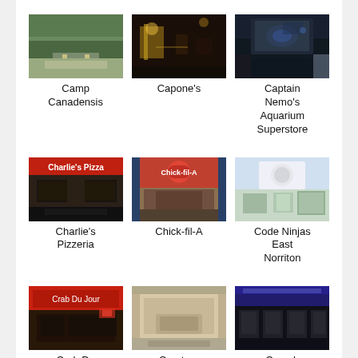[Figure (photo): Photo of Camp Canadensis - outdoor road/driveway]
Camp Canadensis
[Figure (photo): Photo of Capone's - interior restaurant]
Capone's
[Figure (photo): Photo of Captain Nemo's Aquarium Superstore - aquarium store interior]
Captain Nemo's Aquarium Superstore
[Figure (photo): Photo of Charlie's Pizzeria - exterior storefront]
Charlie's Pizzeria
[Figure (photo): Photo of Chick-fil-A - exterior building]
Chick-fil-A
[Figure (photo): Photo of Code Ninjas East Norriton - interior]
Code Ninjas East Norriton
[Figure (photo): Photo of Crab Du Jour Cajun Seafood & Bar - exterior]
Crab Du Jour Cajun Seafood &
[Figure (photo): Photo of Creature Comforts Veterinary - interior]
Creature Comforts Veterinary
[Figure (photo): Photo of Crunch Fitness - East - interior gym]
Crunch Fitness - East